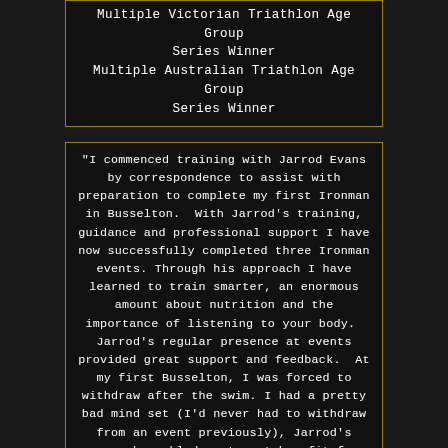Multiple Victorian Triathlon Age Group Series Winner
Multiple Australian Triathlon Age Group Series Winner
"I commenced training with Jarrod Evans by correspondence to assist with preparation to complete my first Ironman in Busselton. With Jarrod's training, guidance and professional support I have now successfully completed three Ironman events. Through his approach I have learned to train smarter, an enormous amount about nutrition and the importance of listening to your body. Jarrod's regular presence at events provided great support and feedback. At my first Busselton, I was forced to withdraw after the swim. I had a pretty bad mind set (I'd never had to withdraw from an event previously), Jarrod's approach enabled me to get benefit from the event, as although I was unable to complete the ride, he encouraged me to use the run a training session, something I would not